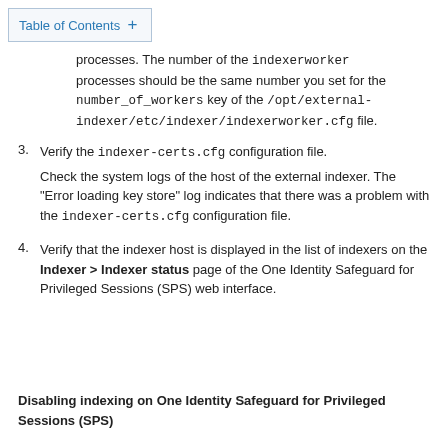Table of Contents +
processes. The number of the indexerworker processes should be the same number you set for the number_of_workers key of the /opt/external-indexer/etc/indexer/indexerworker.cfg file.
3. Verify the indexer-certs.cfg configuration file.
Check the system logs of the host of the external indexer. The "Error loading key store" log indicates that there was a problem with the indexer-certs.cfg configuration file.
4. Verify that the indexer host is displayed in the list of indexers on the Indexer > Indexer status page of the One Identity Safeguard for Privileged Sessions (SPS) web interface.
Disabling indexing on One Identity Safeguard for Privileged Sessions (SPS)